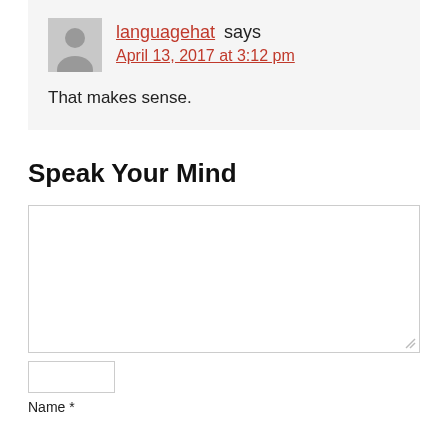languagehat says April 13, 2017 at 3:12 pm
That makes sense.
Speak Your Mind